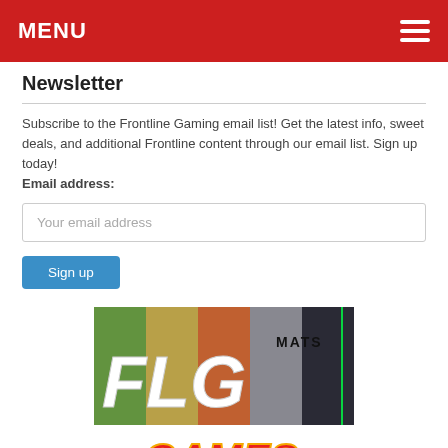MENU
Newsletter
Subscribe to the Frontline Gaming email list! Get the latest info, sweet deals, and additional Frontline content through our email list. Sign up today!
Email address:
[Figure (screenshot): Email input field with placeholder text 'Your email address' and a 'Sign up' button below it]
[Figure (logo): FLG Mats logo — large white stylized letters 'FLG' with 'MATS' text on a collaged background of green grass, orange dirt, and grey metallic terrain textures]
[Figure (logo): Partial view of a colorful gaming logo at the bottom of the page, showing partial red and yellow lettering]